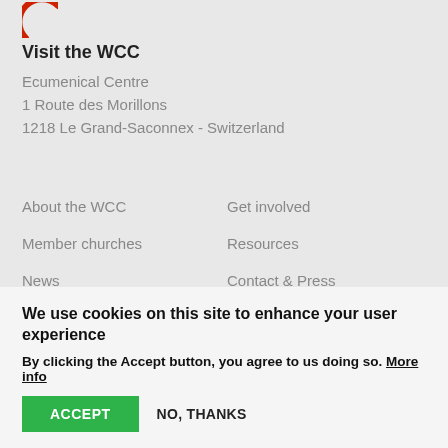[Figure (logo): WCC logo partial view, circular red arc]
Visit the WCC
Ecumenical Centre
1 Route des Morillons
1218 Le Grand-Saconnex - Switzerland
About the WCC
Get involved
Member churches
Resources
News
Contact & Press
We use cookies on this site to enhance your user experience
By clicking the Accept button, you agree to us doing so. More info
ACCEPT   NO, THANKS